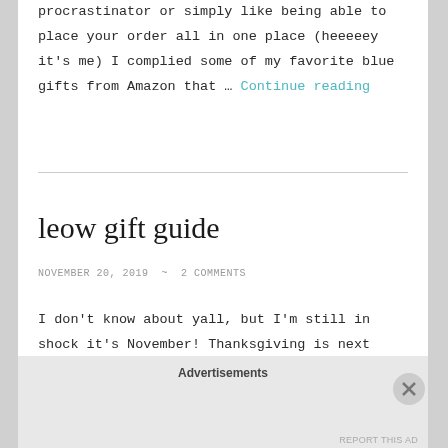procrastinator or simply like being able to place your order all in one place (heeeeey it's me) I complied some of my favorite blue gifts from Amazon that … Continue reading
leow gift guide
NOVEMBER 20, 2019  ~  2 COMMENTS
I don't know about yall, but I'm still in shock it's November! Thanksgiving is next week and Christmas is right around the corner. A lot of the
Advertisements